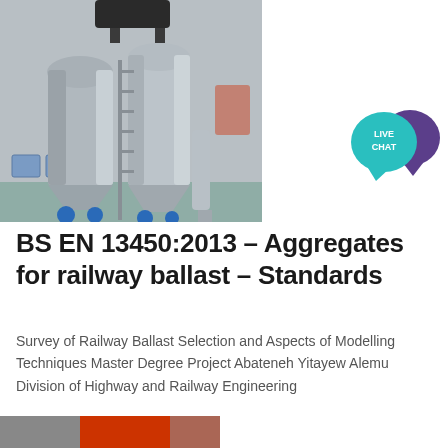[Figure (photo): Industrial equipment photograph showing large metal silos or tanks in a factory/warehouse setting with blue pipe fittings and industrial flooring. A black piece of equipment is visible at the top.]
[Figure (other): Live Chat badge with teal circular speech bubble showing 'LIVE CHAT' text and a purple speech bubble behind it]
BS EN 13450:2013 – Aggregates for railway ballast – Standards
Survey of Railway Ballast Selection and Aspects of Modelling Techniques Master Degree Project Abateneh Yitayew Alemu Division of Highway and Railway Engineering
[Figure (photo): Partial image visible at bottom of page, appears to show railway or engineering related content]